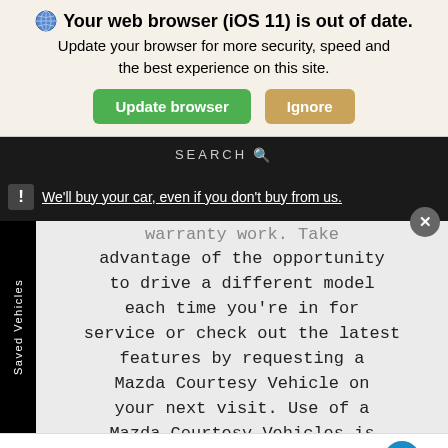[Figure (screenshot): Browser update notification banner with globe icon, bold title 'Your web browser (iOS 11) is out of date.', subtitle text, and two buttons: 'Update browser' (green) and 'Ignore' (tan)]
SEARCH
We'll buy your car, even if you don't buy from us.
warranty work. Take advantage of the opportunity to drive a different model each time you're in for service or check out the latest features by requesting a Mazda Courtesy Vehicle on your next visit. Use of a Mazda Courtesy Vehicles is always free. Please call us at
Search   Contact   Saved   (accessibility icon)